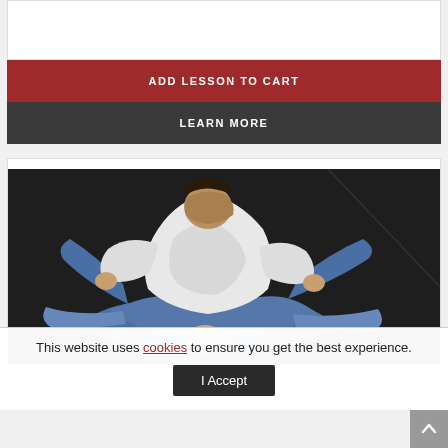ADD LESSON TO CART
LEARN MORE
[Figure (photo): Two martial artists practicing Brazilian jiu-jitsu/grappling on a dark mat floor, one person in white gi on top controlling the other in blue gi on the ground]
This website uses cookies to ensure you get the best experience.
I Accept